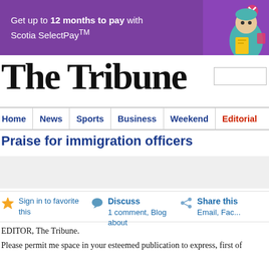[Figure (infographic): Purple advertisement banner: 'Get up to 12 months to pay with Scotia SelectPay™' with illustrated characters on the right]
The Tribune
Home | News | Sports | Business | Weekend | Editorial
Praise for immigration officers
Sign in to favorite this   Discuss 1 comment, Blog about   Share this Email, Fac...
EDITOR, The Tribune.
Please permit me space in your esteemed publication to express, first of